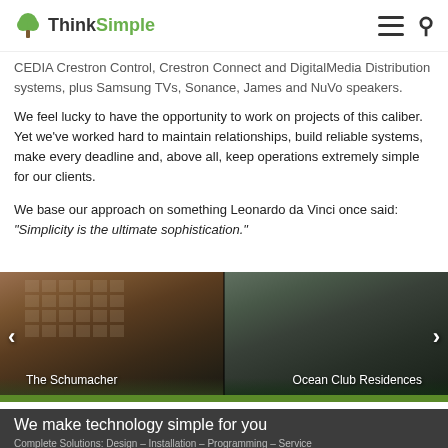ThinkSimple
CEDIA Crestron Control, Crestron Connect and DigitalMedia Distribution systems, plus Samsung TVs, Sonance, James and NuVo speakers.
We feel lucky to have the opportunity to work on projects of this caliber. Yet we've worked hard to maintain relationships, build reliable systems, make every deadline and, above all, keep operations extremely simple for our clients.
We base our approach on something Leonardo da Vinci once said: “Simplicity is the ultimate sophistication.”
[Figure (photo): Two-panel image slider showing building photos. Left panel: The Schumacher (brick multi-story building with trees). Right panel: Ocean Club Residences (modern building with pool/palm trees). Navigation arrows on left and right sides.]
We make technology simple for you
Complete Solutions: Design – Installation – Programming – Service